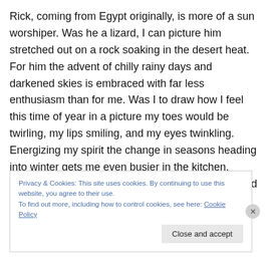Rick, coming from Egypt originally, is more of a sun worshiper. Was he a lizard, I can picture him stretched out on a rock soaking in the desert heat. For him the advent of chilly rainy days and darkened skies is embraced with far less enthusiasm than for me. Was I to draw how I feel this time of year in a picture my toes would be twirling, my lips smiling, and my eyes twinkling. Energizing my spirit the change in seasons heading into winter gets me even busier in the kitchen, eyeing my sewing machine for holiday projects, and beginning to look at store sales and
Privacy & Cookies: This site uses cookies. By continuing to use this website, you agree to their use.
To find out more, including how to control cookies, see here: Cookie Policy
Close and accept